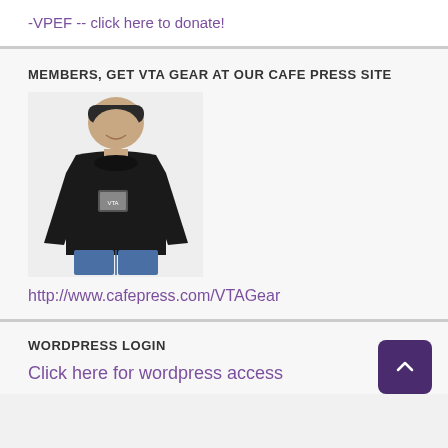-VPEF -- click here to donate!
MEMBERS, GET VTA GEAR AT OUR CAFE PRESS SITE
[Figure (photo): Person wearing a black long-sleeve sweatshirt with a small logo patch on the chest]
http://www.cafepress.com/VTAGear
WORDPRESS LOGIN
Click here for wordpress access